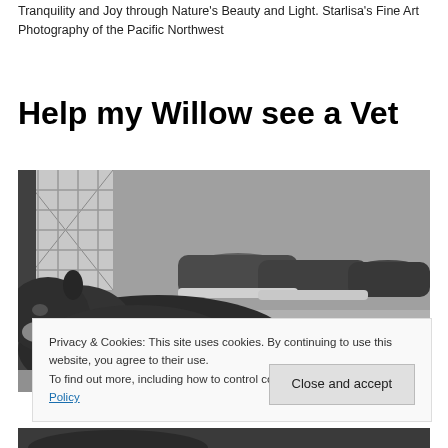Tranquility and Joy through Nature's Beauty and Light. Starlisa's Fine Art Photography of the Pacific Northwest
Help my Willow see a Vet
[Figure (photo): Black and white photo of a cat lying on the floor near a collection of sneakers/shoes in the background]
Privacy & Cookies: This site uses cookies. By continuing to use this website, you agree to their use.
To find out more, including how to control cookies, see here: Cookie Policy
Close and accept
[Figure (photo): Black and white photo partially visible at the bottom of the page, appears to show an animal]